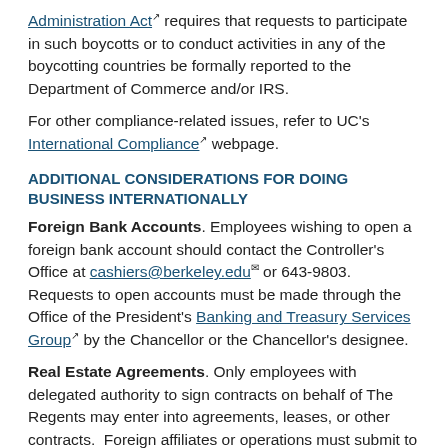Administration Act requires that requests to participate in such boycotts or to conduct activities in any of the boycotting countries be formally reported to the Department of Commerce and/or IRS.
For other compliance-related issues, refer to UC's International Compliance webpage.
ADDITIONAL CONSIDERATIONS FOR DOING BUSINESS INTERNATIONALLY
Foreign Bank Accounts. Employees wishing to open a foreign bank account should contact the Controller's Office at cashiers@berkeley.edu or 643-9803. Requests to open accounts must be made through the Office of the President's Banking and Treasury Services Group by the Chancellor or the Chancellor's designee.
Real Estate Agreements. Only employees with delegated authority to sign contracts on behalf of The Regents may enter into agreements, leases, or other contracts. Foreign affiliates or operations must submit to the Real Estate